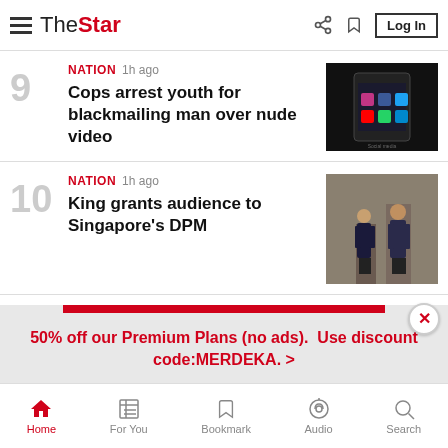The Star — navigation header with hamburger menu, logo, share, bookmark icons and Log In button
9 | NATION 1h ago | Cops arrest youth for blackmailing man over nude video
10 | NATION 1h ago | King grants audience to Singapore's DPM
50% off our Premium Plans (no ads). Use discount code:MERDEKA. >
Home | For You | Bookmark | Audio | Search